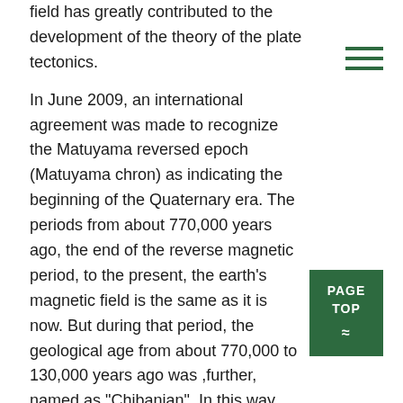field has greatly contributed to the development of the theory of the plate tectonics.
In June 2009, an international agreement was made to recognize the Matuyama reversed epoch (Matuyama chron) as indicating the beginning of the Quaternary era. The periods from about 770,000 years ago, the end of the reverse magnetic period, to the present, the earth's magnetic field is the same as it is now. But during that period, the geological age from about 770,000 to 130,000 years ago was ,further, named as "Chibanian". In this way, the change in the direction of the earth's magnetic field is also used as one of the indicators that determine the boundary of the geological age.